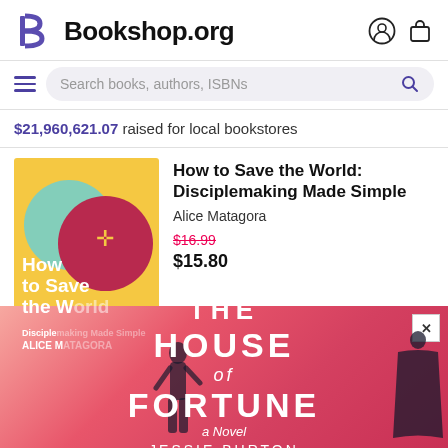[Figure (logo): Bookshop.org logo with stylized B letterform in purple and bold black text 'Bookshop.org']
Search books, authors, ISBNs
$21,960,621.07 raised for local bookstores
[Figure (illustration): Book cover for 'How to Save the World: Disciplemaking Made Simple' by Alice Matagora. Yellow background with overlapping circles in teal, dark red/maroon, and cream. A cross symbol in yellow on the maroon circle. White text at bottom reads 'How to Save the World', 'Disciplemaking Made Simple', 'Alice M'.]
How to Save the World: Disciplemaking Made Simple
Alice Matagora
$16.99
$15.80
[Figure (illustration): Advertisement popup for 'The House of Fortune: A Novel' by Jessie Burton. Pink to red gradient background. White text with title. Two silhouetted figures on left and right. Close button (X) in top right corner.]